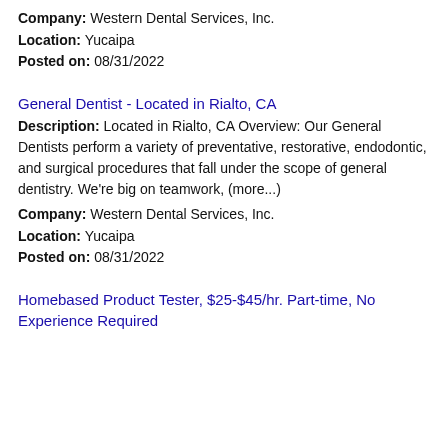Company: Western Dental Services, Inc.
Location: Yucaipa
Posted on: 08/31/2022
General Dentist - Located in Rialto, CA
Description: Located in Rialto, CA Overview: Our General Dentists perform a variety of preventative, restorative, endodontic, and surgical procedures that fall under the scope of general dentistry. We're big on teamwork, (more...)
Company: Western Dental Services, Inc.
Location: Yucaipa
Posted on: 08/31/2022
Homebased Product Tester, $25-$45/hr. Part-time, No Experience Required